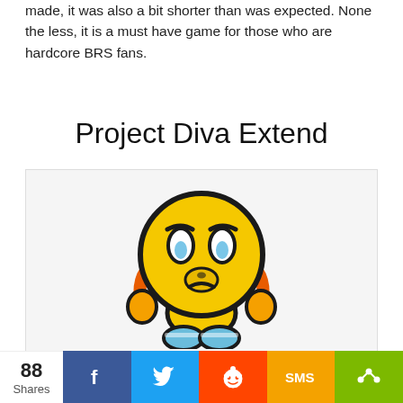made, it was also a bit shorter than was expected. None the less, it is a must have game for those who are hardcore BRS fans.
Project Diva Extend
[Figure (illustration): A sad/worried yellow emoji-style character with orange headphones/ear pieces, light blue boots, furrowed brows, and a downturned mouth, depicted in a cartoon style against a white background.]
88 Shares
[Figure (infographic): Social share bar with Facebook, Twitter, Reddit, SMS, and share buttons]